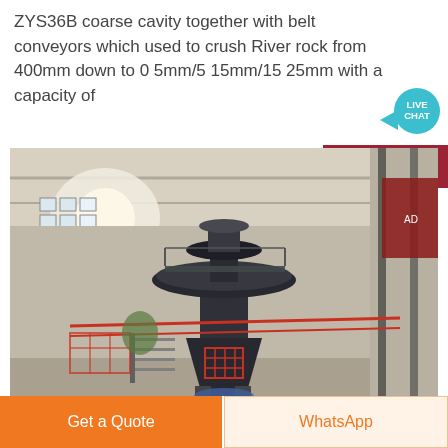ZYS36B coarse cavity together with belt conveyors which used to crush River rock from 400mm down to 0 5mm/5 15mm/15 25mm with a capacity of
[Figure (photo): Industrial photo of a large cone crusher machine (ZYS36B) installed inside a factory/warehouse. The crusher is a tall dark cylindrical machine in the center with a large disc at top and a cone-shaped body. Red safety barriers and pipes are visible around the base. The factory has a metal roof structure with natural light from windows on the left side. Yellow scaffolding and additional industrial equipment visible on the right.]
Get a Quote
WhatsApp